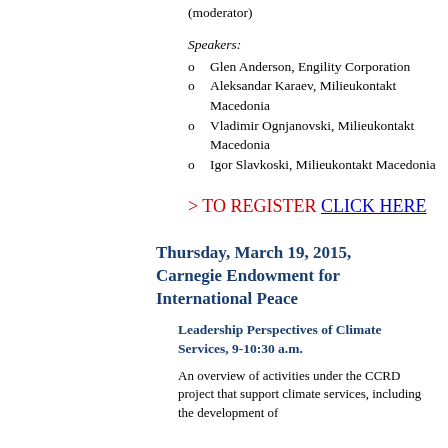(moderator)
Speakers:
Glen Anderson, Engility Corporation
Aleksandar Karaev, Milieukontakt Macedonia
Vladimir Ognjanovski, Milieukontakt Macedonia
Igor Slavkoski, Milieukontakt Macedonia
> TO REGISTER CLICK HERE
Thursday, March 19, 2015, Carnegie Endowment for International Peace
Leadership Perspectives of Climate Services, 9-10:30 a.m.
An overview of activities under the CCRD project that support climate services, including the development of